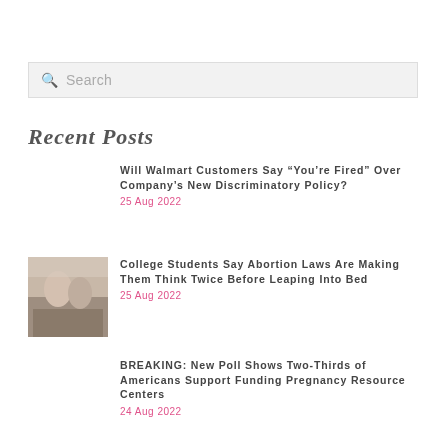Search
Recent Posts
Will Walmart Customers Say “You’re Fired” Over Company’s New Discriminatory Policy?
25 Aug 2022
College Students Say Abortion Laws Are Making Them Think Twice Before Leaping Into Bed
25 Aug 2022
BREAKING: New Poll Shows Two-Thirds of Americans Support Funding Pregnancy Resource Centers
24 Aug 2022